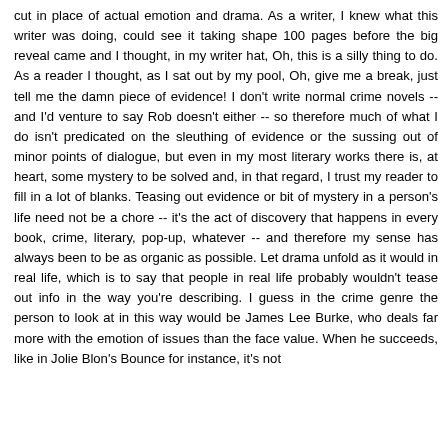cut in place of actual emotion and drama. As a writer, I knew what this writer was doing, could see it taking shape 100 pages before the big reveal came and I thought, in my writer hat, Oh, this is a silly thing to do. As a reader I thought, as I sat out by my pool, Oh, give me a break, just tell me the damn piece of evidence! I don't write normal crime novels -- and I'd venture to say Rob doesn't either -- so therefore much of what I do isn't predicated on the sleuthing of evidence or the sussing out of minor points of dialogue, but even in my most literary works there is, at heart, some mystery to be solved and, in that regard, I trust my reader to fill in a lot of blanks. Teasing out evidence or bit of mystery in a person's life need not be a chore -- it's the act of discovery that happens in every book, crime, literary, pop-up, whatever -- and therefore my sense has always been to be as organic as possible. Let drama unfold as it would in real life, which is to say that people in real life probably wouldn't tease out info in the way you're describing. I guess in the crime genre the person to look at in this way would be James Lee Burke, who deals far more with the emotion of issues than the face value. When he succeeds, like in Jolie Blon's Bounce for instance, it's not